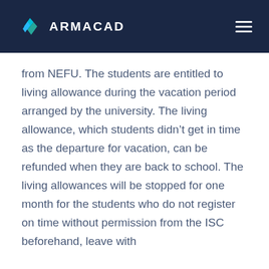ARMACAD
from NEFU. The students are entitled to living allowance during the vacation period arranged by the university. The living allowance, which students didn’t get in time as the departure for vacation, can be refunded when they are back to school. The living allowances will be stopped for one month for the students who do not register on time without permission from the ISC beforehand, leave with